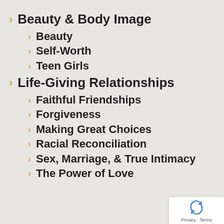Beauty & Body Image
Beauty
Self-Worth
Teen Girls
Life-Giving Relationships
Faithful Friendships
Forgiveness
Making Great Choices
Racial Reconciliation
Sex, Marriage, & True Intimacy
The Power of Love